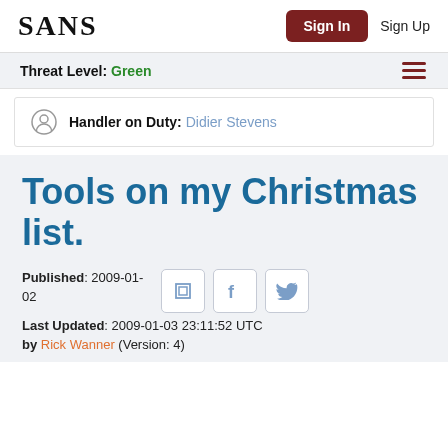SANS | Sign In | Sign Up
Threat Level: Green
Handler on Duty: Didier Stevens
Tools on my Christmas list.
Published: 2009-01-02
Last Updated: 2009-01-03 23:11:52 UTC
by Rick Wanner (Version: 4)